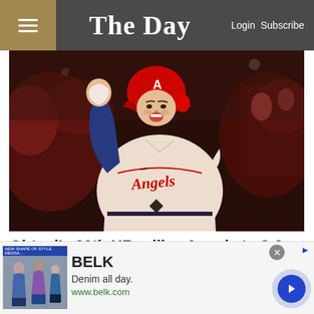The Day — Login Subscribe
[Figure (photo): Baseball player in Angels uniform celebrating with fist raised, wearing red helmet, crowd in background]
Ohtani's 30th HR rallies Angels to 3-2 victory over Yankees
Anaheim, Calif. — In a matchup of the top two contenders for the AL Most Valuable Pl...
[Figure (infographic): BELK advertisement — Denim all day. www.belk.com with fashion images and navigation arrow]